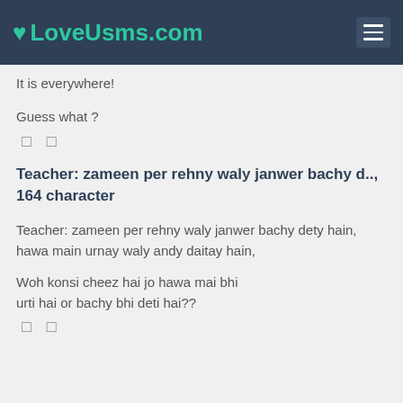LoveUsms.com
It is everywhere!
Guess what ?
□ □
Teacher: zameen per rehny waly janwer bachy d.., 164 character
Teacher: zameen per rehny waly janwer bachy dety hain,
hawa main urnay waly andy daitay hain,

Woh konsi cheez hai jo hawa mai bhi urti hai or bachy bhi deti hai??
□ □